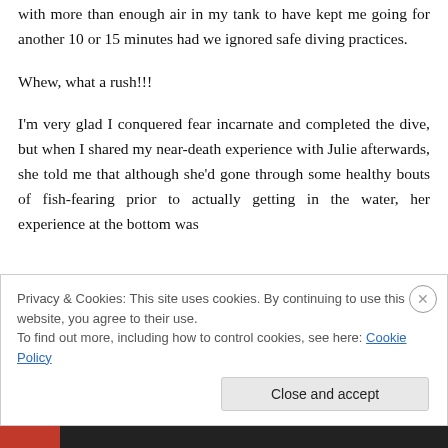with more than enough air in my tank to have kept me going for another 10 or 15 minutes had we ignored safe diving practices.
Whew, what a rush!!!
I'm very glad I conquered fear incarnate and completed the dive, but when I shared my near-death experience with Julie afterwards, she told me that although she'd gone through some healthy bouts of fish-fearing prior to actually getting in the water, her experience at the bottom was
Privacy & Cookies: This site uses cookies. By continuing to use this website, you agree to their use.
To find out more, including how to control cookies, see here: Cookie Policy